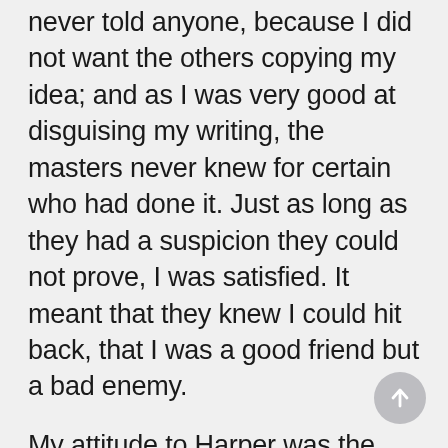never told anyone, because I did not want the others copying my idea; and as I was very good at disguising my writing, the masters never knew for certain who had done it. Just as long as they had a suspicion they could not prove, I was satisfied. It meant that they knew I could hit back, that I was a good friend but a bad enemy.
My attitude to Harper was the same. He had given me a “caning”; but instead of wallowing in self-pity, as any other man in my position might have done, I began to think of ways in which I could hit back.
Obviously, there was nothing much I could do while he had that “confession”; but I knew one thing-he was a crook. I didn’t